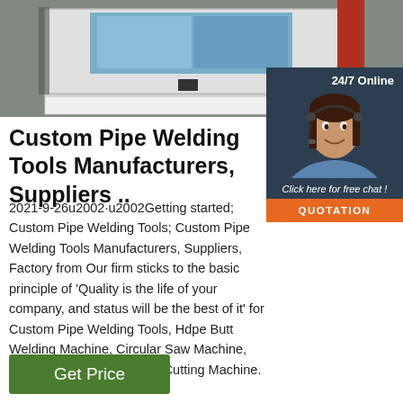[Figure (photo): Industrial pipe welding tool / machine box, white and grey metal box with blue inner panels and a red side panel on the right, photographed in a workshop setting.]
Custom Pipe Welding Tools Manufacturers, Suppliers ..
2021-9-26u2002·u2002Getting started; Custom Pipe Welding Tools; Custom Pipe Welding Tools Manufacturers, Suppliers, Factory from Our firm sticks to the basic principle of 'Quality is the life of your company, and status will be the best of it' for Custom Pipe Welding Tools, Hdpe Butt Welding Machine, Circular Saw Machine, Plasma Metal,Metal Laser Cutting Machine.
[Figure (photo): 24/7 Online chat widget showing a woman with a headset smiling, with a 'Click here for free chat!' label and an orange QUOTATION button, on a dark navy background.]
Get Price